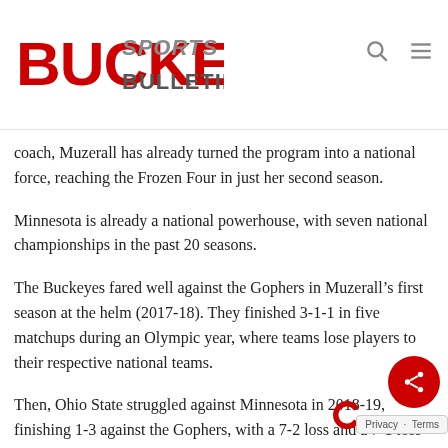Buckeye Sports Bulletin
coach, Muzerall has already turned the program into a national force, reaching the Frozen Four in just her second season.
Minnesota is already a national powerhouse, with seven national championships in the past 20 seasons.
The Buckeyes fared well against the Gophers in Muzerall’s first season at the helm (2017-18). They finished 3-1-1 in five matchups during an Olympic year, where teams lose players to their respective national teams.
Then, Ohio State struggled against Minnesota in 2018-19, finishing 1-3 against the Gophers, with a 7-2 loss and a 7-1 loss coming at the end of